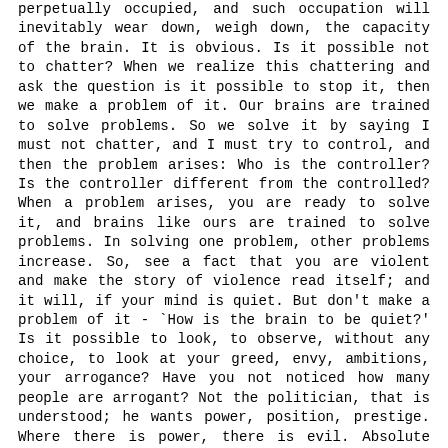perpetually occupied, and such occupation will inevitably wear down, weigh down, the capacity of the brain. It is obvious. Is it possible not to chatter? When we realize this chattering and ask the question is it possible to stop it, then we make a problem of it. Our brains are trained to solve problems. So we solve it by saying I must not chatter, and I must try to control, and then the problem arises: Who is the controller? Is the controller different from the controlled? When a problem arises, you are ready to solve it, and brains like ours are trained to solve problems. In solving one problem, other problems increase. So, see a fact that you are violent and make the story of violence read itself; and it will, if your mind is quiet. But don't make a problem of it - `How is the brain to be quiet?' Is it possible to look, to observe, without any choice, to look at your greed, envy, ambitions, your arrogance? Have you not noticed how many people are arrogant? Not the politician, that is understood; he wants power, position, prestige. Where there is power, there is evil. Absolute power corrupts absolutely.
Now, are you arrogant? The man who is trying to become something psychologically is arrogant. A person is arrogant when he tries to become something which he is not. The becoming is the movement of arrogance. Sirs, look at it. It denies totally the sense of humility. When you are facing facts, then you have to be totally humble, not cultivate humility. Only the vain cultivate humility. When they are vain, arrogant, they may cultivate humility, but their humility is still arrogance. We are all treading the same path of becoming and therefore being utterly dishonest, pretending to be what we are not. Whereas, a